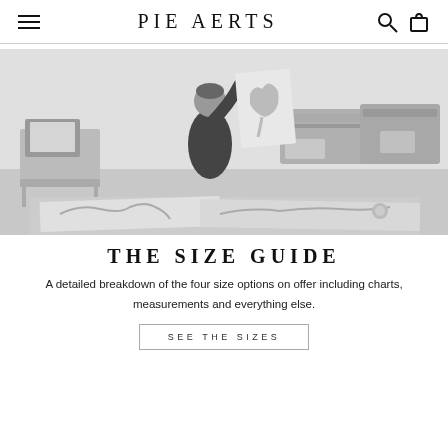PIE AERTS
[Figure (photo): Black and white photo of a person in a print studio holding up a large print, with large format printers and printed artwork visible on tables]
THE SIZE GUIDE
A detailed breakdown of the four size options on offer including charts, measurements and everything else.
SEE THE SIZES